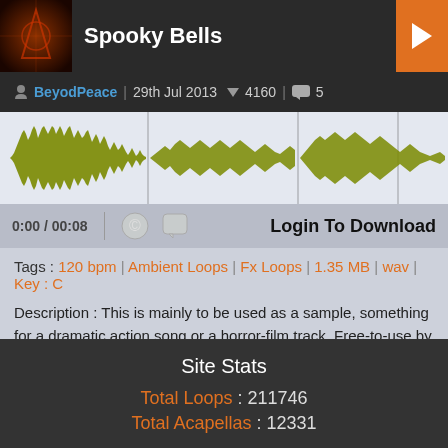Spooky Bells
BeyodPeace | 29th Jul 2013 | 4160 | 5
[Figure (other): Audio waveform visualization showing sound wave in olive/yellow-green color on light background with vertical timeline markers]
0:00 / 00:08 | Login To Download
Tags : 120 bpm | Ambient Loops | Fx Loops | 1.35 MB | wav | Key : C
Description : This is mainly to be used as a sample, something for a dramatic action song or a horror-film track. Free-to-use by anyone, no credit needed! If you do use it, please leave a comment so I can hear it!
Site Stats
Total Loops : 211746
Total Acapellas : 12331